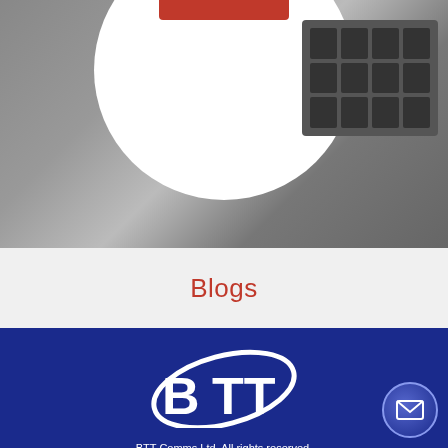[Figure (photo): Partial view of a laptop computer with keyboard visible, overlaid with a white circle containing a red button element. Gray background.]
Blogs
[Figure (logo): BTT Comms logo — white stylized letters BTT with an orbital ellipse swoosh around them, on dark blue background.]
BTT Comms Ltd. All rights reserved.
Five Willows Farm, Old Thrapston Road, Cranford, Northamptonshire, NN14 4AW, UK